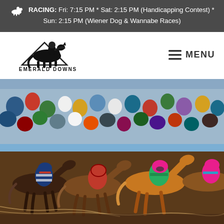RACING: Fri: 7:15 PM * Sat: 2:15 PM (Handicapping Contest) * Sun: 2:15 PM (Wiener Dog & Wannabe Races)
[Figure (logo): Emerald Downs horse racing logo with jockey on horse silhouette and text EMERALD DOWNS]
MENU
[Figure (photo): Horse race photo showing multiple jockeys in colorful silks racing neck-and-neck with a large crowd of spectators in the background]